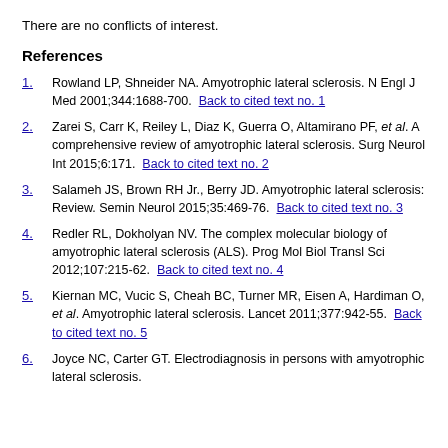There are no conflicts of interest.
References
1. Rowland LP, Shneider NA. Amyotrophic lateral sclerosis. N Engl J Med 2001;344:1688-700. Back to cited text no. 1
2. Zarei S, Carr K, Reiley L, Diaz K, Guerra O, Altamirano PF, et al. A comprehensive review of amyotrophic lateral sclerosis. Surg Neurol Int 2015;6:171. Back to cited text no. 2
3. Salameh JS, Brown RH Jr., Berry JD. Amyotrophic lateral sclerosis: Review. Semin Neurol 2015;35:469-76. Back to cited text no. 3
4. Redler RL, Dokholyan NV. The complex molecular biology of amyotrophic lateral sclerosis (ALS). Prog Mol Biol Transl Sci 2012;107:215-62. Back to cited text no. 4
5. Kiernan MC, Vucic S, Cheah BC, Turner MR, Eisen A, Hardiman O, et al. Amyotrophic lateral sclerosis. Lancet 2011;377:942-55. Back to cited text no. 5
6. Joyce NC, Carter GT. Electrodiagnosis in persons with amyotrophic lateral sclerosis.